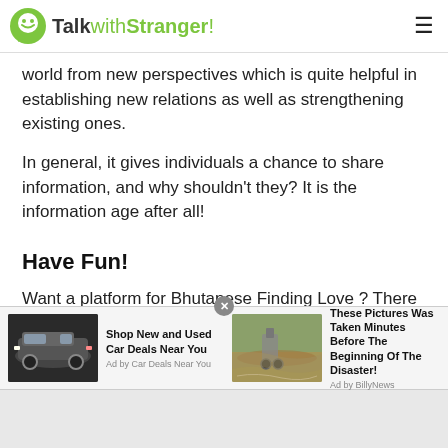TalkwithStranger!
world from new perspectives which is quite helpful in establishing new relations as well as strengthening existing ones.
In general, it gives individuals a chance to share information, and why shouldn't they? It is the information age after all!
Have Fun!
Want a platform for Bhutanese Finding Love ? There is no better choice than Talkwithstranger. Here you can get in
[Figure (other): Advertisement: Shop New and Used Car Deals Near You - Ad by Car Deals Near You. Image of a dark SUV.]
[Figure (other): Advertisement: These Pictures Was Taken Minutes Before The Beginning Of The Disaster! - Ad by BillyNews. Image of a flooded road with a car.]